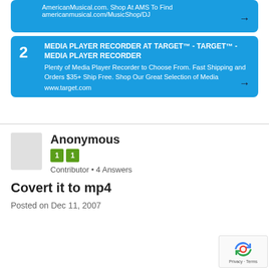AmericanMusical.com. Shop At AMS To Find americanmusical.com/MusicShop/DJ
2 MEDIA PLAYER RECORDER AT TARGET™ - TARGET™ - MEDIA PLAYER RECORDER
Plenty of Media Player Recorder to Choose From. Fast Shipping and Orders $35+ Ship Free. Shop Our Great Selection of Media
www.target.com
Anonymous
Contributor • 4 Answers
Covert it to mp4
Posted on Dec 11, 2007